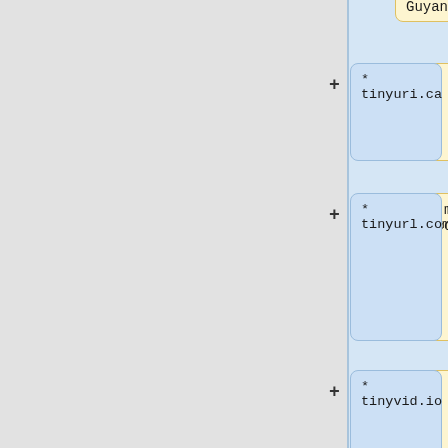Guyana ||
|-
* tinyuri.ca
| zi.ma || Morocco ||
* tinyurl.com
|-
* tinyvid.io
| ff.im || Isle of Man ||
* tl.gd
|-
* t.lh.com
| hex.io || British Indian Ocean Territory ||
* tmi.me